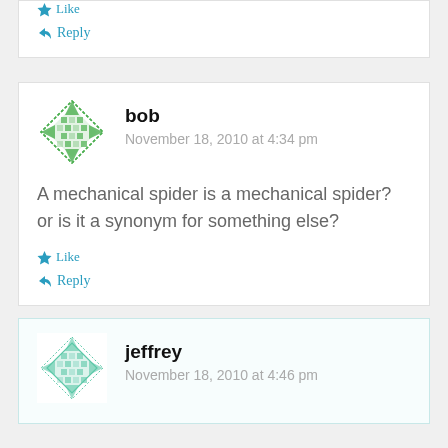Like
Reply
[Figure (illustration): Green geometric diamond-pattern avatar for user bob]
bob
November 18, 2010 at 4:34 pm
A mechanical spider is a mechanical spider? or is it a synonym for something else?
Like
Reply
[Figure (illustration): Light green geometric diamond-pattern avatar for user jeffrey]
jeffrey
November 18, 2010 at 4:46 pm